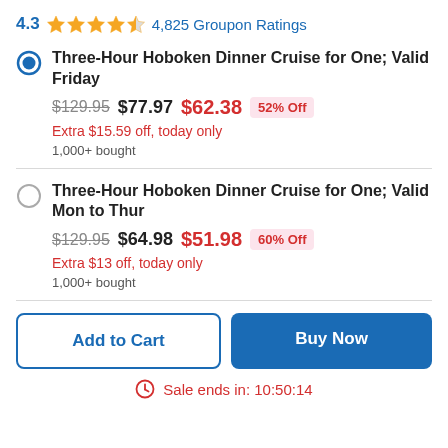4.3 ★★★★✩ 4,825 Groupon Ratings
Three-Hour Hoboken Dinner Cruise for One; Valid Friday — $129.95 $77.97 $62.38 52% Off — Extra $15.59 off, today only — 1,000+ bought
Three-Hour Hoboken Dinner Cruise for One; Valid Mon to Thur — $129.95 $64.98 $51.98 60% Off — Extra $13 off, today only — 1,000+ bought
Add to Cart | Buy Now
Sale ends in: 10:50:14